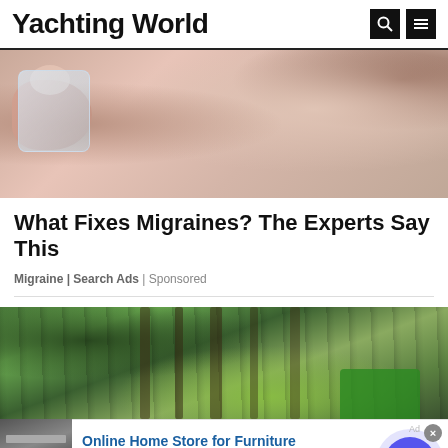Yachting World
[Figure (photo): Close-up photo of a hand applying ice or a clear gel substance to skin near an ear/face area, representing migraine treatment]
What Fixes Migraines? The Experts Say This
Migraine | Search Ads | Sponsored
[Figure (photo): Photo of a forest with tall trees and green foliage, with what appears to be green machinery visible]
[Figure (screenshot): Bottom advertisement bar for Wayfair: Online Home Store for Furniture. Shop Wayfair for A Zillion Things Home across all styles. www.wayfair.com]